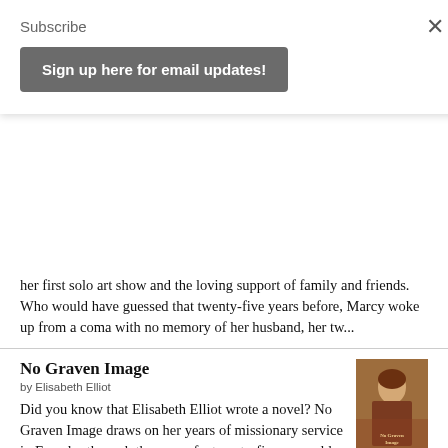Subscribe
Sign up here for email updates!
her first solo art show and the loving support of family and friends. Who would have guessed that twenty-five years before, Marcy woke up from a coma with no memory of her husband, her tw...
No Graven Image
by Elisabeth Elliot
Did you know that Elisabeth Elliot wrote a novel? No Graven Image draws on her years of missionary service in Ecuador through the eyes of a twenty-five-year-old single missionary. Initially published in 1966, the book must have sent shoc...
[Figure (illustration): Book cover of No Graven Image showing a painted portrait of a woman in historical dress]
A Curious Faith: The Questions God Asks, We Ask, and We Wish Someone Would Ask Us
[Figure (illustration): Book cover of A Curious Faith with blue sky and text]